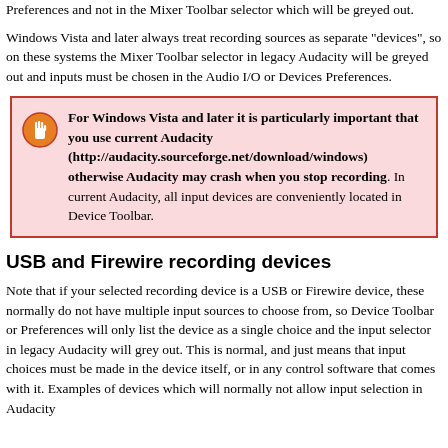Preferences and not in the Mixer Toolbar selector which will be greyed out.
Windows Vista and later always treat recording sources as separate "devices", so on these systems the Mixer Toolbar selector in legacy Audacity will be greyed out and inputs must be chosen in the Audio I/O or Devices Preferences.
For Windows Vista and later it is particularly important that you use current Audacity (http://audacity.sourceforge.net/download/windows) otherwise Audacity may crash when you stop recording. In current Audacity, all input devices are conveniently located in Device Toolbar.
USB and Firewire recording devices
Note that if your selected recording device is a USB or Firewire device, these normally do not have multiple input sources to choose from, so Device Toolbar or Preferences will only list the device as a single choice and the input selector in legacy Audacity will grey out. This is normal, and just means that input choices must be made in the device itself, or in any control software that comes with it. Examples of devices which will normally not allow input selection in Audacity